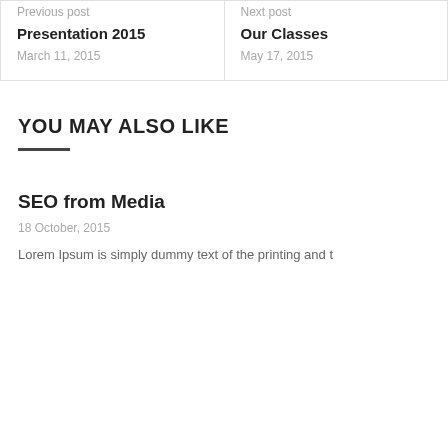Previous post
Presentation 2015
March 11, 2015
Next post
Our Classes
May 17, 2015
YOU MAY ALSO LIKE
SEO from Media
18 October, 2015
Lorem Ipsum is simply dummy text of the printing and t